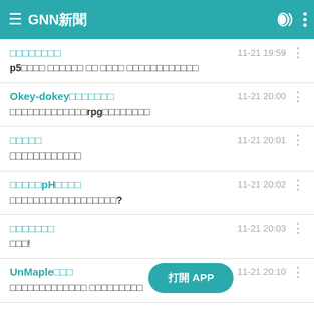GNN新聞
標題：p5小新聞 內文：p5小新聞 發布時間 11-21 19:59
Okey-dokey遊戲新聞 時間：11-21 20:00 最新遊戲新聞大全rpg最強角色公開
電腦科技 時間：11-21 20:01 最新科技新聞整理
身體pHpH值 時間：11-21 20:02 如何知道自己的身體健康狀態？
科技新聞 時間：11-21 20:03 最強！
UnMaple社群 時間：11-21 20:10 最強社群平台 讓你輕鬆分享